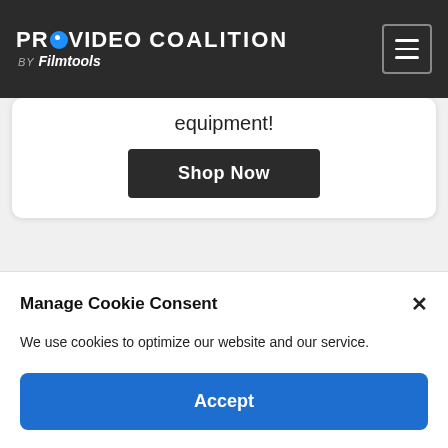PROVIDEO COALITION BY Filmtools
equipment!
Shop Now
epic games
real time animation
The Pulse
Unreal Engine
Manage Cookie Consent
We use cookies to optimize our website and our service.
Accept